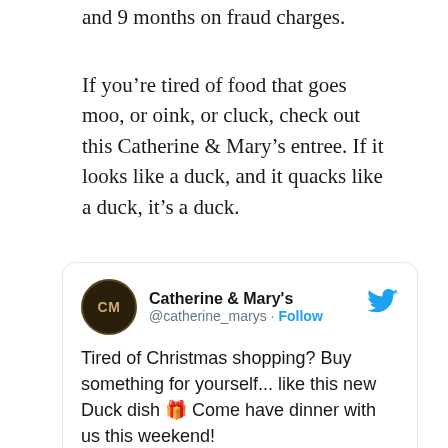and 9 months on fraud charges.
If you’re tired of food that goes moo, or oink, or cluck, check out this Catherine & Mary’s entree. If it looks like a duck, and it quacks like a duck, it’s a duck.
[Figure (screenshot): Embedded tweet from @catherine_marys (Catherine & Mary's) with Twitter bird icon. Tweet reads: 'Tired of Christmas shopping? Buy something for yourself... like this new Duck dish 🎁 Come have dinner with us this weekend! . . . Duck | parsnip, cabbage, sunchoke,']